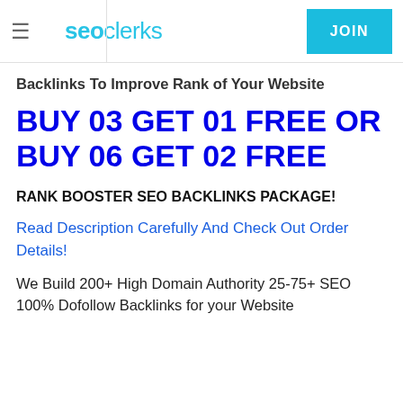seoclerks JOIN
Backlinks To Improve Rank of Your Website
BUY 03 GET 01 FREE OR BUY 06 GET 02 FREE
RANK BOOSTER SEO BACKLINKS PACKAGE!
Read Description Carefully And Check Out Order Details!
We Build 200+ High Domain Authority 25-75+ SEO 100% Dofollow Backlinks for your Website